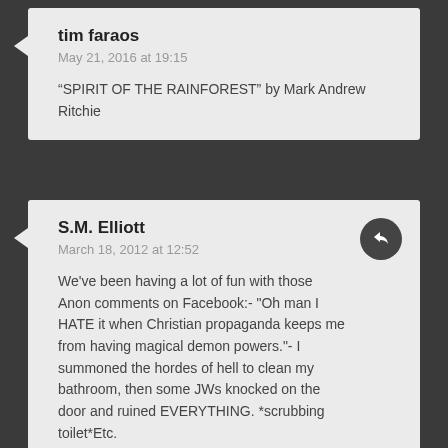tim faraos
May 21, 2016 at 19:15
“SPIRIT OF THE RAINFOREST” by Mark Andrew Ritchie
S.M. Elliott
March 18, 2012 at 12:52
We've been having a lot of fun with those Anon comments on Facebook:- "Oh man I HATE it when Christian propaganda keeps me from having magical demon powers."- I summoned the hordes of hell to clean my bathroom, then some JWs knocked on the door and ruined EVERYTHING. *scrubbing toilet*Etc.